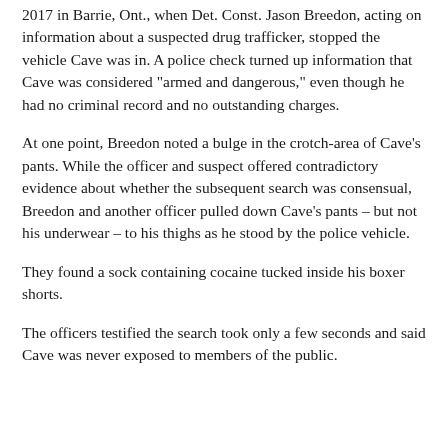2017 in Barrie, Ont., when Det. Const. Jason Breedon, acting on information about a suspected drug trafficker, stopped the vehicle Cave was in. A police check turned up information that Cave was considered "armed and dangerous," even though he had no criminal record and no outstanding charges.
At one point, Breedon noted a bulge in the crotch-area of Cave's pants. While the officer and suspect offered contradictory evidence about whether the subsequent search was consensual, Breedon and another officer pulled down Cave's pants – but not his underwear – to his thighs as he stood by the police vehicle.
They found a sock containing cocaine tucked inside his boxer shorts.
The officers testified the search took only a few seconds and said Cave was never exposed to members of the public.